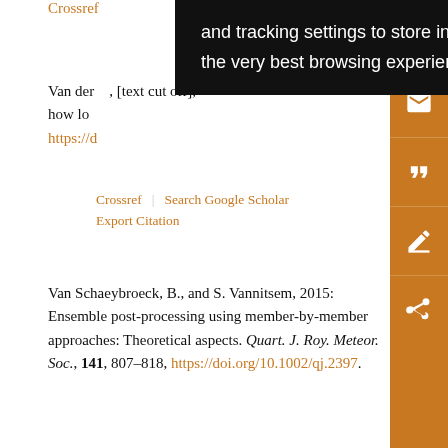Van der... how lo... https://d...
Crossref | Search Google Scholar
Export Citation
Van Schaeybroeck, B., and S. Vannitsem, 2015: Ensemble post-processing using member-by-member approaches: Theoretical aspects. Quart. J. Roy. Meteor. Soc., 141, 807–818, https://doi.org/10.1002/qj.2397.
Crossref | Search Google Scholar
Export Citation
van Straaten, C., K. Whan, and M. Schmeits, 2018:
[Figure (screenshot): Black tooltip/cookie consent overlay with white text: 'and tracking settings to store information that help give you the very best browsing experience.']
[Figure (other): Orange vertical sidebar with white icons: save, email, quote, edit/annotation, share]